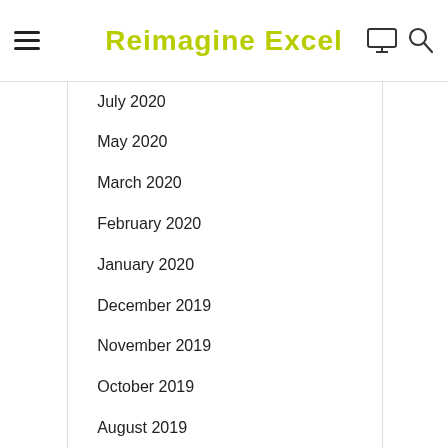Reimagine Excel
May 2021
March 2021
July 2020
May 2020
March 2020
February 2020
January 2020
December 2019
November 2019
October 2019
August 2019
June 2019